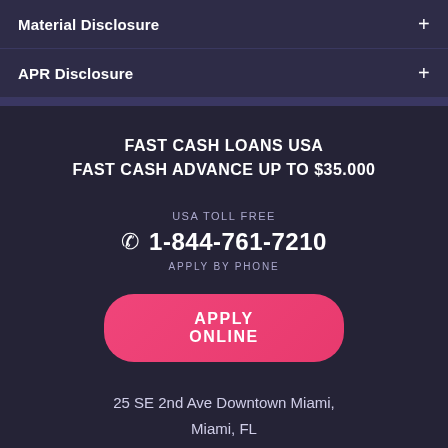Material Disclosure
APR Disclosure
FAST CASH LOANS USA
FAST CASH ADVANCE UP TO $35.000
USA TOLL FREE
1-844-761-7210
APPLY BY PHONE
APPLY ONLINE
25 SE 2nd Ave Downtown Miami,
Miami, FL
Sitemap